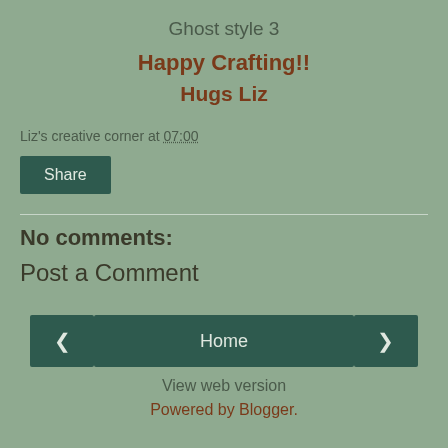Ghost style 3
Happy Crafting!!
Hugs Liz
Liz's creative corner at 07:00
Share
No comments:
Post a Comment
‹
Home
›
View web version
Powered by Blogger.